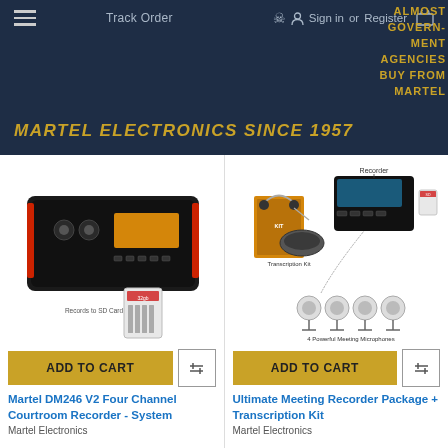MARTEL ELECTRONICS SINCE 1957 | ALMOST GOVERNMENT AGENCIES BUY FROM MARTEL
[Figure (photo): Martel DM246 V2 Four Channel Courtroom Recorder with SD card shown below]
[Figure (photo): Ultimate Meeting Recorder Package with Transcription Kit showing recorder, transcription kit, SD card, and 4 powerful meeting microphones]
ADD TO CART
ADD TO CART
Martel DM246 V2 Four Channel Courtroom Recorder - System
Ultimate Meeting Recorder Package + Transcription Kit
Martel Electronics
Martel Electronics